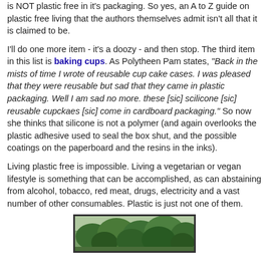is NOT plastic free in it's packaging. So yes, an A to Z guide on plastic free living that the authors themselves admit isn't all that it is claimed to be.
I'll do one more item - it's a doozy - and then stop. The third item in this list is baking cups. As Polytheen Pam states, "Back in the mists of time I wrote of reusable cup cake cases. I was pleased that they were reusable but sad that they came in plastic packaging. Well I am sad no more. these [sic] scilicone [sic] reusable cupckaes [sic] come in cardboard packaging." So now she thinks that silicone is not a polymer (and again overlooks the plastic adhesive used to seal the box shut, and the possible coatings on the paperboard and the resins in the inks).
Living plastic free is impossible. Living a vegetarian or vegan lifestyle is something that can be accomplished, as can abstaining from alcohol, tobacco, red meat, drugs, electricity and a vast number of other consumables. Plastic is just not one of them.
[Figure (photo): A photograph of trees with green foliage, shown in a bordered rectangular frame at the bottom of the page.]